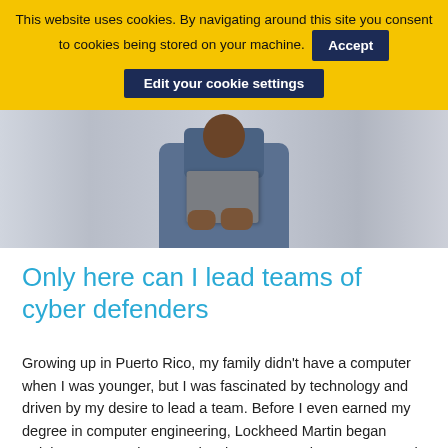This website uses cookies. By navigating around this site you consent to cookies being stored on your machine. Accept Edit your cookie settings
[Figure (photo): Partial view of a person in a blue shirt holding a laptop, with a blurred office background]
Only here can I lead teams of cyber defenders
Growing up in Puerto Rico, my family didn't have a computer when I was younger, but I was fascinated by technology and driven by my desire to lead a team. Before I even earned my degree in computer engineering, Lockheed Martin began training me as an intern to develop systems that protect people and networks from cyber invaders. Now I coach teams of the